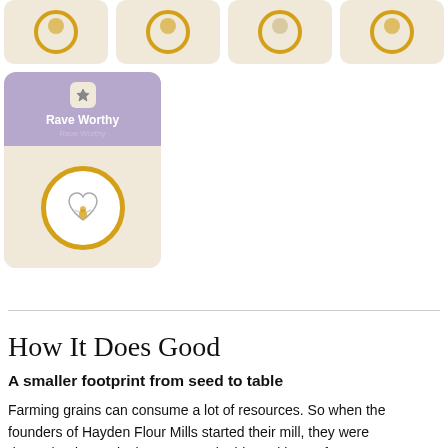[Figure (illustration): Top row of four achievement/badge cards with golden circular icons on beige background, partially cropped at top]
[Figure (illustration): Single highlighted card with purple top section labeled 'Rave Worthy', badge number 5, and a golden circle with heart/bee icon on beige background]
How It Does Good
A smaller footprint from seed to table
Farming grains can consume a lot of resources. So when the founders of Hayden Flour Mills started their mill, they were determined to make it more sustainable and better for everyone. By choosing ancient, drought-resistant grains, Hayden Flour Mills is able to reduce the amount of water they use while farming. Since environmentally